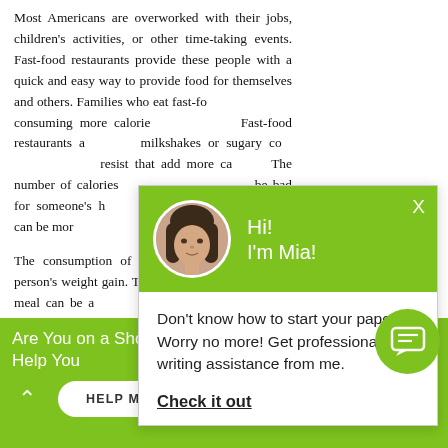Most Americans are overworked with their jobs, children's activities, or other time-taking events. Fast-food restaurants provide these people with a quick and easy way to provide food for themselves and others. Families who eat fast-fo... consuming more calorie... Fast-food restaurants a... milkshakes or sugary co... resist that add more ca... The number of calories... be bad for someone's h... weight gain can be mor...
The consumption of fa... person's weight gain. Th... eats per meal can be a... eat fast-food five days...
[Figure (screenshot): Chat popup widget with green header showing avatar of woman labeled 'Hi! I'm Mia!' and body text: Don't know how to start your paper? Worry no more! Get professional writing assistance from me. Check it out]
Are You on a Short Deadline? Let a Professional W... Help You